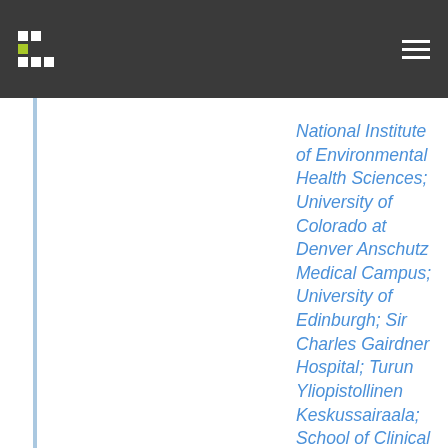National Institute of Environmental Health Sciences; University of Colorado at Denver Anschutz Medical Campus; University of Edinburgh; Sir Charles Gairdner Hospital; Turun Yliopistollinen Keskussairaala; School of Clinical Medicine; Helmholtz Center Munich German Research Center for Environmental Health; University of Dundee College of Medicine, Dentistry and Nursing;